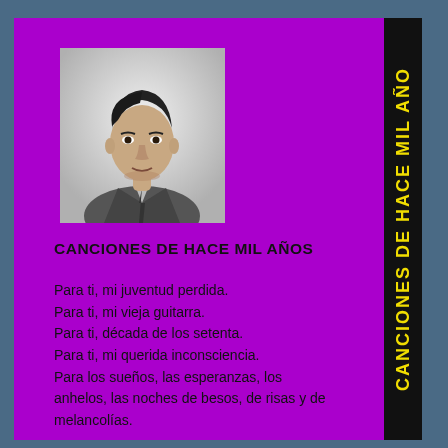[Figure (photo): Black and white portrait photo of a young man in a suit and tie]
CANCIONES DE HACE MIL AÑOS
Para ti, mi juventud perdida.
Para ti, mi vieja guitarra.
Para ti, década de los setenta.
Para ti, mi querida inconsciencia.
Para los sueños, las esperanzas, los anhelos, las noches de besos, de risas y de melancolías.

Para aquellas mujeres que me amaron.
Para aquellas mujeres que yo amé
CANCIONES DE HACE MIL AÑO